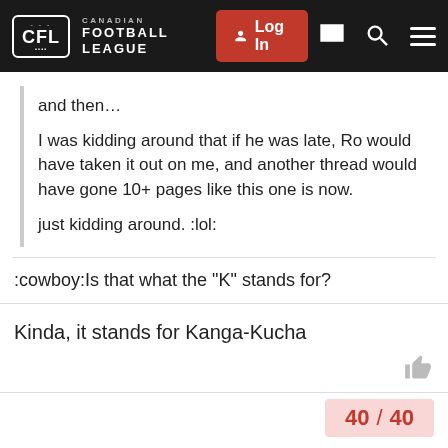CFL CANADIAN FOOTBALL LEAGUE | Log In
and then...

I was kidding around that if he was late, Ro would have taken it out on me, and another thread would have gone 10+ pages like this one is now.

just kidding around. :lol:
:cowboy:Is that what the "K" stands for?
Kinda, it stands for Kanga-Kucha
40 / 40